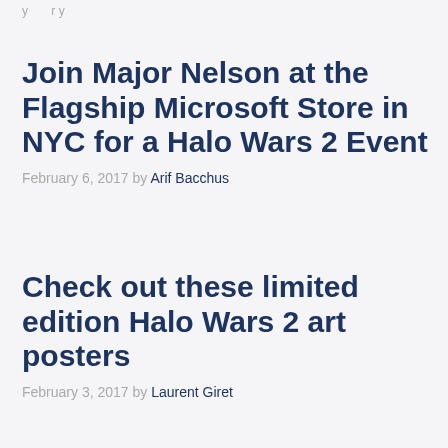y … r y
Join Major Nelson at the Flagship Microsoft Store in NYC for a Halo Wars 2 Event
February 6, 2017 by Arif Bacchus
Check out these limited edition Halo Wars 2 art posters
February 3, 2017 by Laurent Giret